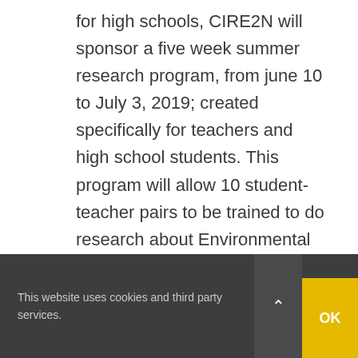for high schools, CIRE2N will sponsor a five week summer research program, from june 10 to July 3, 2019; created specifically for teachers and high school students. This program will allow 10 student-teacher pairs to be trained to do research about Environmental Nanotechnology in one of the laboratories of the University of Puerto Rico, Río Piedras. During the summer, participants will elaborate a research proposal to continue it during the semester and another one for an educational activity to be made in their school. Benefits:
This website uses cookies and third party services.